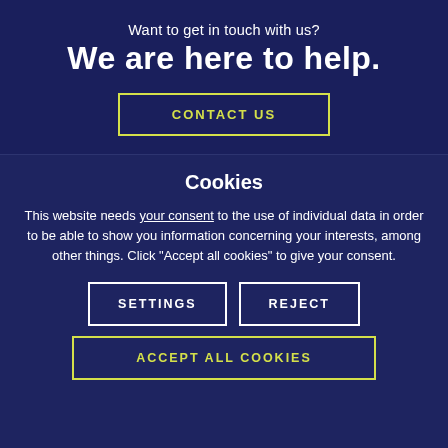Want to get in touch with us?
We are here to help.
CONTACT US
Cookies
This website needs your consent to the use of individual data in order to be able to show you information concerning your interests, among other things. Click "Accept all cookies" to give your consent.
SETTINGS
REJECT
ACCEPT ALL COOKIES